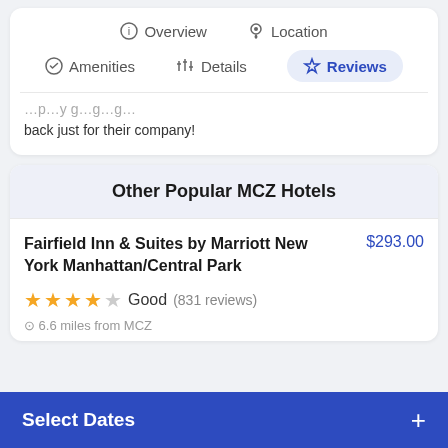Overview | Location | Amenities | Details | Reviews
back just for their company!
Other Popular MCZ Hotels
Fairfield Inn & Suites by Marriott New York Manhattan/Central Park $293.00 ★★★★☆ Good (831 reviews) 6.6 miles from MCZ
Select Dates +